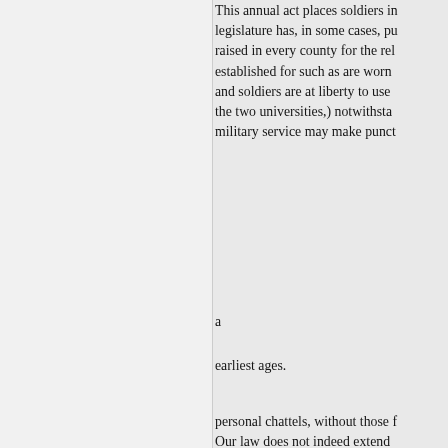This annual act places soldiers in... legislature has, in some cases, pu... raised in every county for the rel... established for such as are worn... and soldiers are at liberty to use... the two universities,) notwithsta... military service may make punct...
a
earliest ages.
personal chattels, without those f... Our law does not indeed extend... bordering upon the ridiculous; fo... shield, or scratched with his swo...
The maritiine state is nearly allie... constitution. The royal navy of B... strength; the floating bulwark of... to liberty can be apprehended, a...
" According to the Welsh Tria... Clas Merddiu, the seadefended s... defends no people who cannot d... poet of his age, poured forth a...